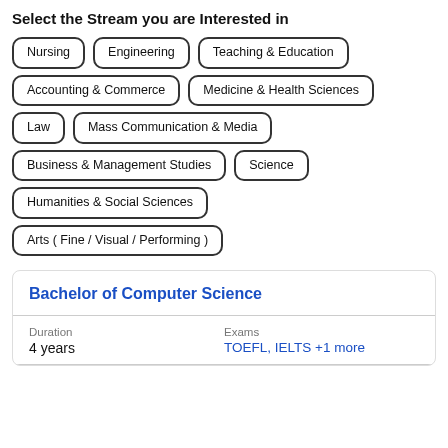Select the Stream you are Interested in
Nursing
Engineering
Teaching & Education
Accounting & Commerce
Medicine & Health Sciences
Law
Mass Communication & Media
Business & Management Studies
Science
Humanities & Social Sciences
Arts ( Fine / Visual / Performing )
Bachelor of Computer Science
| Duration | Exams |
| --- | --- |
| 4 years | TOEFL, IELTS +1 more |